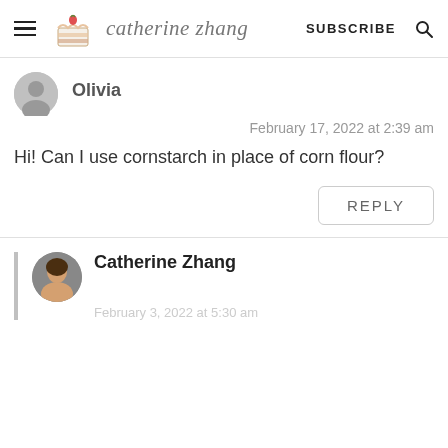catherine zhang — SUBSCRIBE
Olivia
February 17, 2022 at 2:39 am
Hi! Can I use cornstarch in place of corn flour?
REPLY
Catherine Zhang
February 3, 2022 at 5:30 am